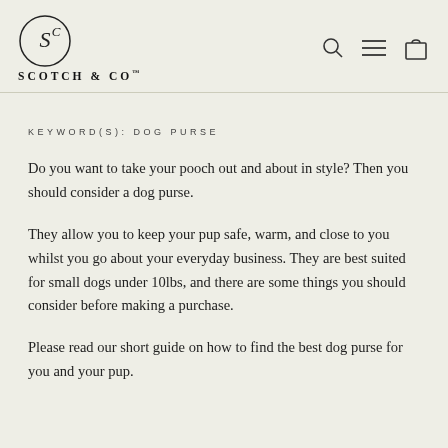Scotch & Co™
KEYWORD(S): DOG PURSE
Do you want to take your pooch out and about in style? Then you should consider a dog purse.
They allow you to keep your pup safe, warm, and close to you whilst you go about your everyday business. They are best suited for small dogs under 10lbs, and there are some things you should consider before making a purchase.
Please read our short guide on how to find the best dog purse for you and your pup.